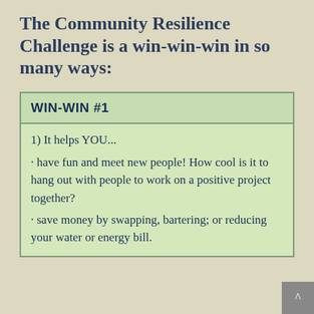The Community Resilience Challenge is a win-win-win in so many ways:
WIN-WIN #1
1) It helps YOU...
• have fun and meet new people! How cool is it to hang out with people to work on a positive project together?
• save money by swapping, bartering; or reducing your water or energy bill.